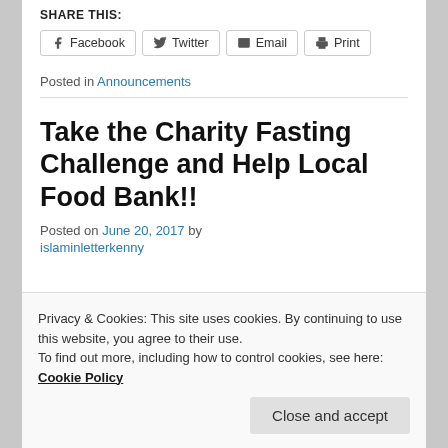SHARE THIS:
[Figure (other): Social share buttons: Facebook, Twitter, Email, Print]
Posted in Announcements
Take the Charity Fasting Challenge and Help Local Food Bank!!
Posted on June 20, 2017 by islaminletterkenny
Privacy & Cookies: This site uses cookies. By continuing to use this website, you agree to their use. To find out more, including how to control cookies, see here: Cookie Policy